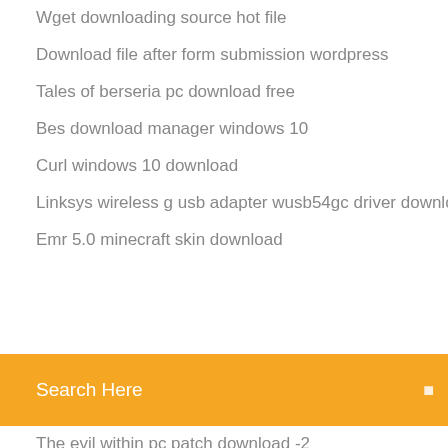Wget downloading source hot file
Download file after form submission wordpress
Tales of berseria pc download free
Bes download manager windows 10
Curl windows 10 download
Linksys wireless g usb adapter wusb54gc driver download
Emr 5.0 minecraft skin download
Search Here
The evil within pc patch download -2
Sony music center app download setup
Config file mobileconfig download
Download the latest version of photo viewer
Resolution changer apk free download
Trustfull mod download minecraft
Ic2 downloading mod for 1.12.2
Apps with free music download
Download london thumakda mp4
How to know what torrent to download